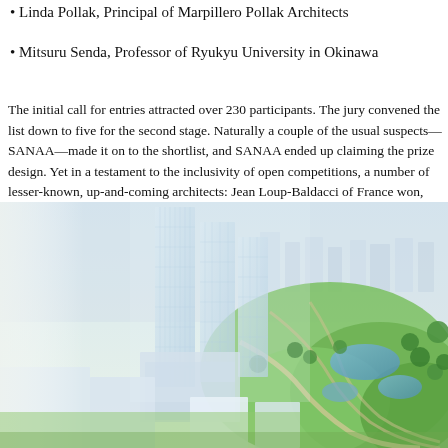• Linda Pollak, Principal of Marpillero Pollak Architects
• Mitsuru Senda, Professor of Ryukyu University in Okinawa
The initial call for entries attracted over 230 participants. The jury convened the list down to five for the second stage. Naturally a couple of the usual suspects—SANAA—made it on to the shortlist, and SANAA ended up claiming the prize design. Yet in a testament to the inclusivity of open competitions, a number of lesser-known, up-and-coming architects: Jean Loup-Baldacci of France won, MASS STUDIES and Swiss studio Stucheli Architekten both claimed honora
[Figure (photo): Aerial architectural rendering of a large urban development with glass skyscrapers and green parkland with water features and winding paths, viewed from above at an angle.]